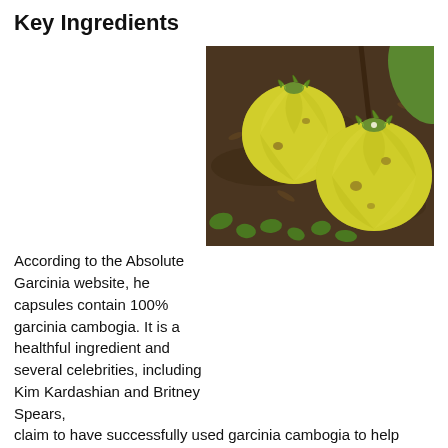Key Ingredients
According to the Absolute Garcinia website, he capsules contain 100% garcinia cambogia. It is a healthful ingredient and several celebrities, including Kim Kardashian and Britney Spears, claim to have successfully used garcinia cambogia to help them trim down and shape up. But not all garcinia cambogia products are created equal—a good ingredient does not always guarantee an effective product.
[Figure (photo): Two yellow garcinia cambogia fruits resting on dark soil with small green leaves around them]
Garcinia cambogia is sourced from an Indonesian fruit. The active ingredient is called Hydroxycitric acid (HCA). It is found in the peel and some studies indicate supplementation with HCA can triple weight loss results.
The HCA from garcinia cambogia is believed to assist